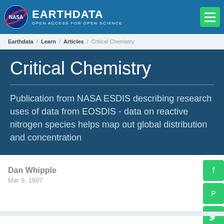NASA EARTHDATA — OPEN ACCESS FOR OPEN SCIENCE
Earthdata / Learn / Articles / Critical Chemistry
Critical Chemistry
Publication from NASA ESDIS describing research uses of data from EOSDIS - data on reactive nitrogen species helps map out global distribution and concentration
Dan Whipple
Mar 9, 1997